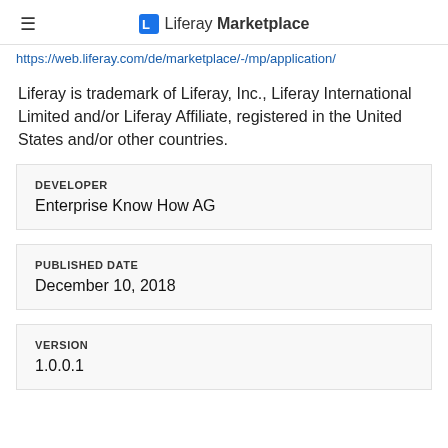Liferay Marketplace
https://web.liferay.com/de/marketplace/-/mp/application/
Liferay is trademark of Liferay, Inc., Liferay International Limited and/or Liferay Affiliate, registered in the United States and/or other countries.
| DEVELOPER |
| --- |
| Enterprise Know How AG |
| PUBLISHED DATE |
| --- |
| December 10, 2018 |
| VERSION |
| --- |
| 1.0.0.1 |